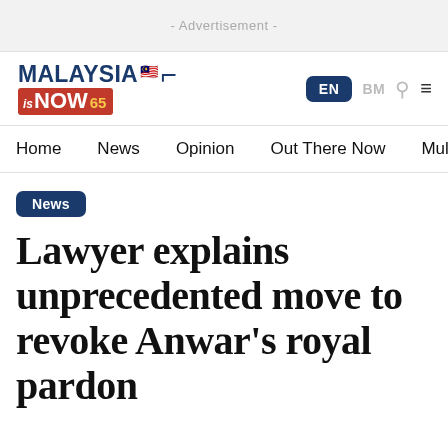- Advertisement -
[Figure (logo): Malaysia is NOW 65 news website logo with Malaysian flag emoji and bracket design]
EN   BM   🔍   ≡
Home   News   Opinion   Out There Now   Multimedia
News
Lawyer explains unprecedented move to revoke Anwar's royal pardon